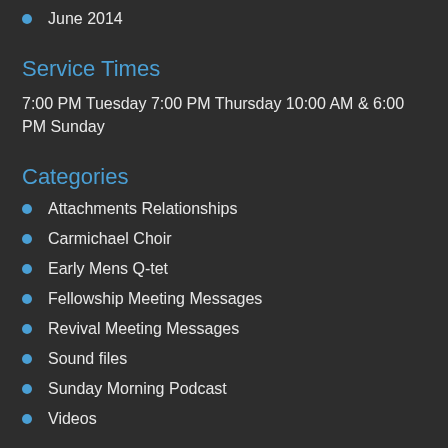June 2014
Service Times
7:00 PM Tuesday 7:00 PM Thursday 10:00 AM & 6:00 PM Sunday
Categories
Attachments Relationships
Carmichael Choir
Early Mens Q-tet
Fellowship Meeting Messages
Revival Meeting Messages
Sound files
Sunday Morning Podcast
Videos